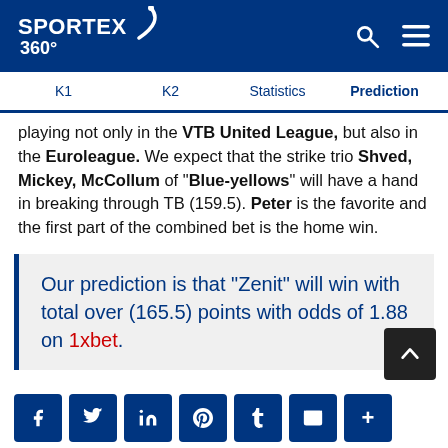SPORTEX 360°
K1  K2  Statistics  Prediction
playing not only in the VTB United League, but also in the Euroleague. We expect that the strike trio Shved, Mickey, McCollum of "Blue-yellows" will have a hand in breaking through TB (159.5). Peter is the favorite and the first part of the combined bet is the home win.
Our prediction is that "Zenit" will win with total over (165.5) points with odds of 1.88 on 1xbet.
Social share icons: Facebook, Twitter, LinkedIn, Pinterest, Tumblr, Email, More